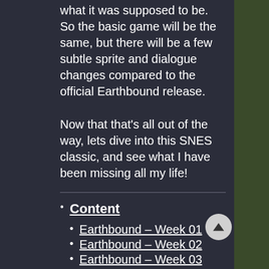what it was supposed to be. So the basic game will be the same, but there will be a few subtle sprite and dialogue changes compared to the official Earthbound release.
Now that that's all out of the way, lets dive into this SNES classic, and see what I have been missing all my life!
Content
Earthbound – Week 01
Earthbound – Week 02
Earthbound – Week 03
Earthbound – Week 04